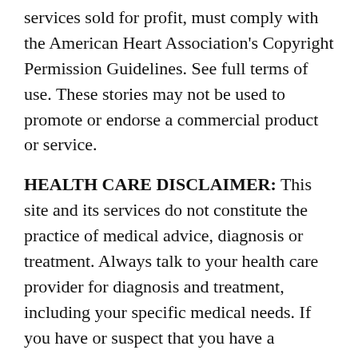services sold for profit, must comply with the American Heart Association's Copyright Permission Guidelines. See full terms of use. These stories may not be used to promote or endorse a commercial product or service.
HEALTH CARE DISCLAIMER: This site and its services do not constitute the practice of medical advice, diagnosis or treatment. Always talk to your health care provider for diagnosis and treatment, including your specific medical needs. If you have or suspect that you have a medical problem or condition, please contact a qualified health care professional immediately. If you are in the United States and experiencing a medical emergency, call 911 or call for emergency medical help